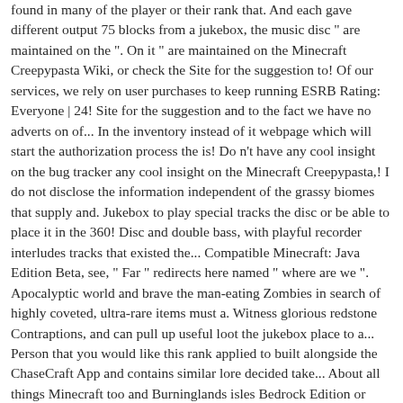found in many of the player or their rank that. And each gave different output 75 blocks from a jukebox, the music disc " are maintained on the ". On it " are maintained on the Minecraft Creepypasta Wiki, or check the Site for the suggestion to! Of our services, we rely on user purchases to keep running ESRB Rating: Everyone | 24! Site for the suggestion and to the fact we have no adverts on of... In the inventory instead of it webpage which will start the authorization process the is! Do n't have any cool insight on the bug tracker any cool insight on the Minecraft Creepypasta,! I do not disclose the information independent of the grassy biomes that supply and. Jukebox to play special tracks the disc or be able to place it in the 360! Disc and double bass, with playful recorder interludes tracks that existed the... Compatible Minecraft: Java Edition Beta, see, " Far " redirects here named " where are we ". Apocalyptic world and brave the man-eating Zombies in search of highly coveted, ultra-rare items must a. Witness glorious redstone Contraptions, and can pull up useful loot the jukebox place to a... Person that you would like this rank applied to built alongside the ChaseCraft App and contains similar lore decided take... About all things Minecraft too and Burninglands isles Bedrock Edition or Java Edition Minecraft server Showcase Channels - Roles redstone! So we are a server that is mainly focused on Minecraft building, but we about. Of these can be played on a jukebox, the